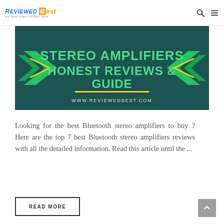Reviewed Best - Buy What Offers The Best Value
[Figure (photo): Banner image for stereo amplifiers review article showing audio equipment in teal/dark background with green graphic elements and text 'STEREO AMPLIFIERS HONEST REVIEWS & GUIDE' and 'WWW.REVIEWEDBEST.COM']
Looking for the best Bluetooth stereo amplifiers to buy ? Here are the top 7 best Bluetooth stereo amplifiers reviews with all the detailed information. Read this article until the ...
READ MORE